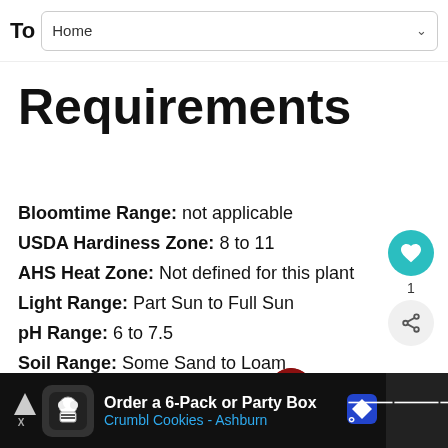To  Home
Requirements
Bloomtime Range: not applicable
USDA Hardiness Zone: 8 to 11
AHS Heat Zone: Not defined for this plant
Light Range: Part Sun to Full Sun
pH Range: 6 to 7.5
Soil Range: Some Sand to Loam
Water Range: Normal to Moist
[Figure (other): What's Next promo with pepper image: Peppers – Complete...]
Order a 6-Pack or Party Box Crumbl Cookies - Ashburn